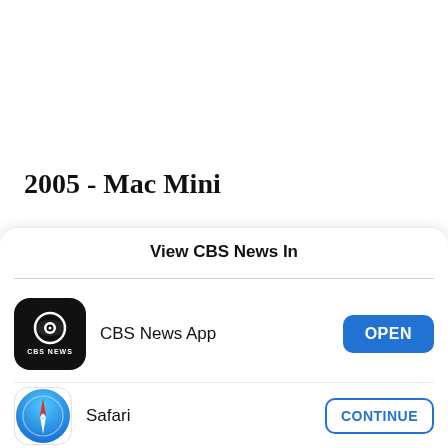2005 - Mac Mini
View CBS News In
[Figure (logo): CBS News app icon: black rounded square with CBS eye logo and 'CBS NEWS' text]
CBS News App
OPEN
[Figure (logo): Safari browser icon: blue gradient compass rose]
Safari
CONTINUE